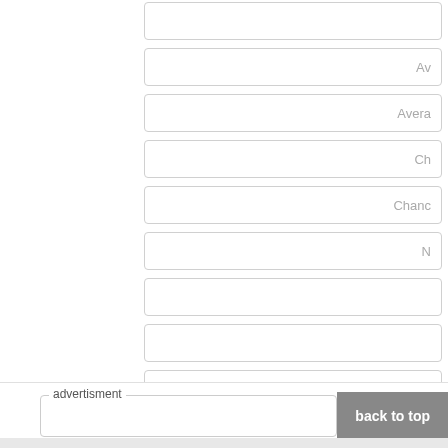[Figure (screenshot): Partial view of a web form on the right side showing multiple input fields with partially visible labels: 'Av', 'Avera', 'Ch', 'Chanc', 'N', and several unlabeled empty fields. A bottom bar contains an 'advertisment' label box and a 'back to top' button.]
advertisment
back to top